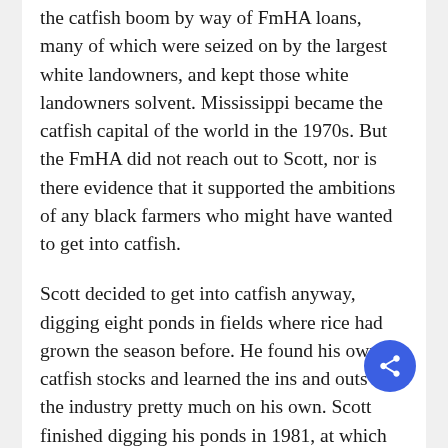the catfish boom by way of FmHA loans, many of which were seized on by the largest white landowners, and kept those white landowners solvent. Mississippi became the catfish capital of the world in the 1970s. But the FmHA did not reach out to Scott, nor is there evidence that it supported the ambitions of any black farmers who might have wanted to get into catfish.
Scott decided to get into catfish anyway, digging eight ponds in fields where rice had grown the season before. He found his own catfish stocks and learned the ins and outs of the industry pretty much on his own. Scott finished digging his ponds in 1981, at which point, according to Rankin, Edwards of the FmHA visited the property and told him point-blank: “Don’t think I’m giving you any damn money for that dirt you’re moving.” The Mississippi FmHA would eventually compel Edwards to provide loans for Scott’s catfish operation for 1981 and 1982. But as court records show, the amount approved was far less than what white catfish farmers usually got—white farmers sometimes received double or triple the amount per acre that Scott did—and enough